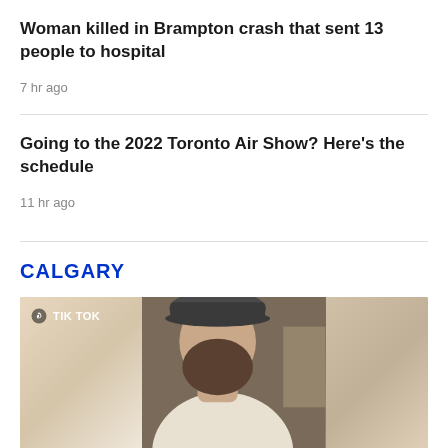Woman killed in Brampton crash that sent 13 people to hospital
7 hr ago
Going to the 2022 Toronto Air Show? Here's the schedule
11 hr ago
CALGARY
[Figure (photo): TikTok video thumbnail showing a bearded man wearing a baseball cap and white tank top, photographed from the side in what appears to be an indoor setting.]